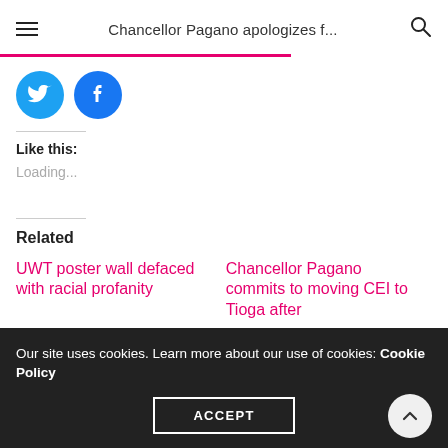Chancellor Pagano apologizes f...
[Figure (other): Social share buttons: Twitter (blue circle with bird icon) and Facebook (blue circle with f icon)]
Like this:
Loading...
Related
UWT poster wall defaced with racial profanity
Chancellor Pagano commits to moving CEI to Tioga after
Our site uses cookies. Learn more about our use of cookies: Cookie Policy
ACCEPT